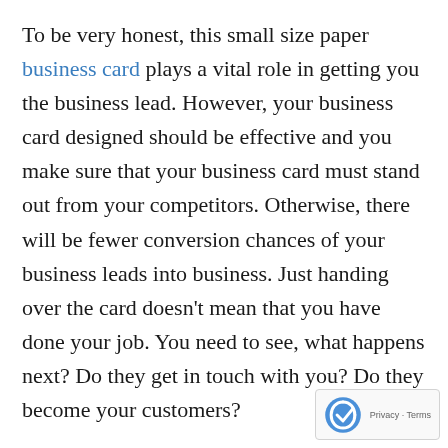To be very honest, this small size paper business card plays a vital role in getting you the business lead. However, your business card designed should be effective and you make sure that your business card must stand out from your competitors. Otherwise, there will be fewer conversion chances of your business leads into business. Just handing over the card doesn't mean that you have done your job. You need to see, what happens next? Do they get in touch with you? Do they become your customers?
You need to see that if your potential customers have your card, and as well as your competitor's card, to whom he preferred. Well, how can you make sure that your prospect will prefer you to